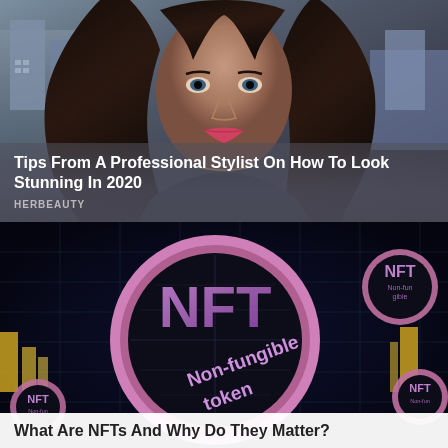[Figure (photo): Photo of a beautiful woman with long dark hair, wearing a necklace, with a city backdrop. Card with dark overlay at bottom.]
Tips From A Professional Stylist On How To Look Stunning In 2020
HERBEAUTY
[Figure (photo): Photo of NFT (Non-fungible token) concept — a glowing black coin with pink/purple ring showing 'NFT' and 'Non-fungible token' text on a dark circuit board background.]
What Are NFTs And Why Do They Matter?